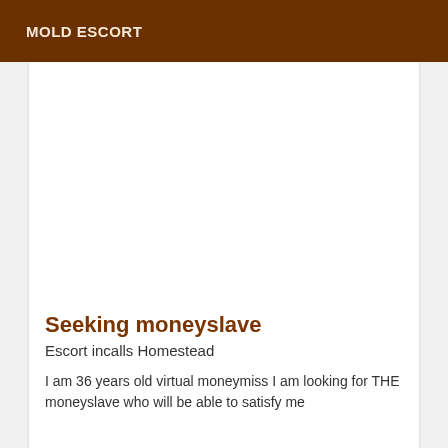MOLD ESCORT
Seeking moneyslave
Escort incalls Homestead
I am 36 years old virtual moneymiss I am looking for THE moneyslave who will be able to satisfy me